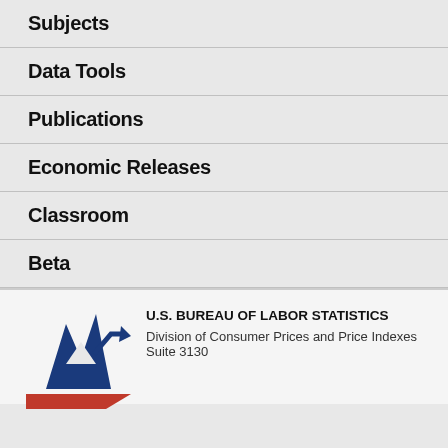Subjects
Data Tools
Publications
Economic Releases
Classroom
Beta
[Figure (logo): U.S. Bureau of Labor Statistics logo with blue star and red base]
U.S. BUREAU OF LABOR STATISTICS
Division of Consumer Prices and Price Indexes
Suite 3130